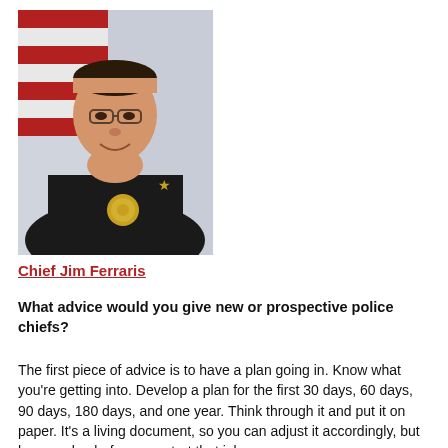[Figure (photo): Portrait photo of Chief Jim Ferraris, a middle-aged man wearing a black police uniform with badge and insignia, smiling, with an American flag visible in the background.]
Chief Jim Ferraris
What advice would you give new or prospective police chiefs?
The first piece of advice is to have a plan going in. Know what you’re getting into. Develop a plan for the first 30 days, 60 days, 90 days, 180 days, and one year. Think through it and put it on paper. It’s a living document, so you can adjust it accordingly, but have a plan before you start that job.